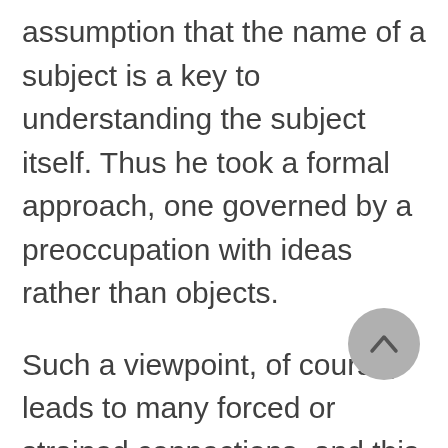assumption that the name of a subject is a key to understanding the subject itself. Thus he took a formal approach, one governed by a preoccupation with ideas rather than objects.
Such a viewpoint, of course, leads to many forced or strained connections, and this is further compounded by Isidore's attempts to reconcile the Bible with classical philosophy and science. Thus he identified the Book of Genesis, for instance, with the science